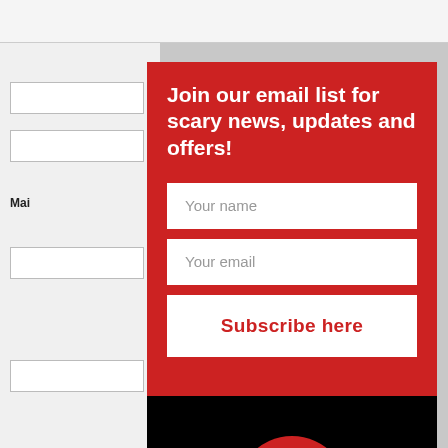Name (required)
Mai
Join our email list for scary news, updates and offers!
Your name
Your email
Subscribe here
[Figure (logo): Red skull logo with yellow eye on black background, with stylized white text reading 'My Haunted Life Too']